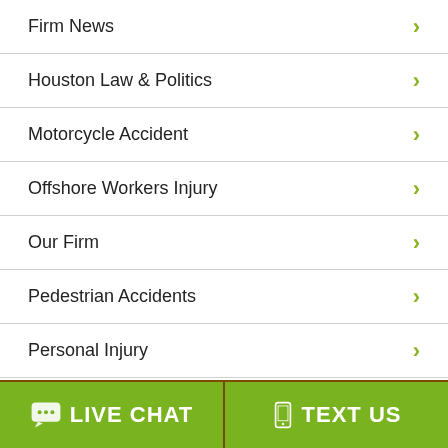Firm News
Houston Law & Politics
Motorcycle Accident
Offshore Workers Injury
Our Firm
Pedestrian Accidents
Personal Injury
Product Liability (partial)
LIVE CHAT | TEXT US